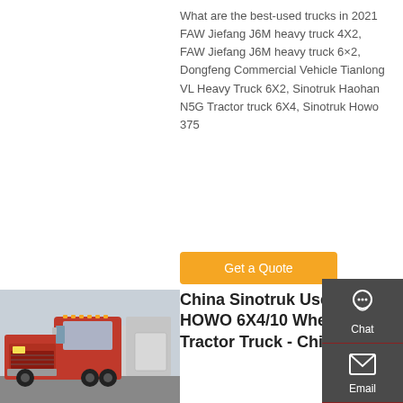What are the best-used trucks in 2021 FAW Jiefang J6M heavy truck 4X2, FAW Jiefang J6M heavy truck 6×2, Dongfeng Commercial Vehicle Tianlong VL Heavy Truck 6X2, Sinotruk Haohan N5G Tractor truck 6X4, Sinotruk Howo 375
Get a Quote
[Figure (photo): Red Sinotruk HOWO tractor truck parked with other trucks in background]
China Sinotruk Used HOWO 6X4/10 Wheels Tractor Truck - China ...